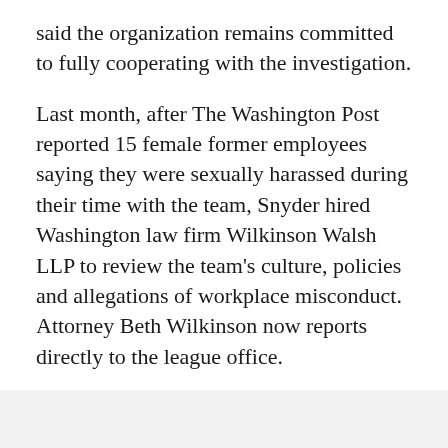said the organization remains committed to fully cooperating with the investigation.
Last month, after The Washington Post reported 15 female former employees saying they were sexually harassed during their time with the team, Snyder hired Washington law firm Wilkinson Walsh LLP to review the team's culture, policies and allegations of workplace misconduct. Attorney Beth Wilkinson now reports directly to the league office.
The change of course comes less than a week since the Post reported additional examples of workplace sexual harassment, along with allegations that Snyder was personally involved.